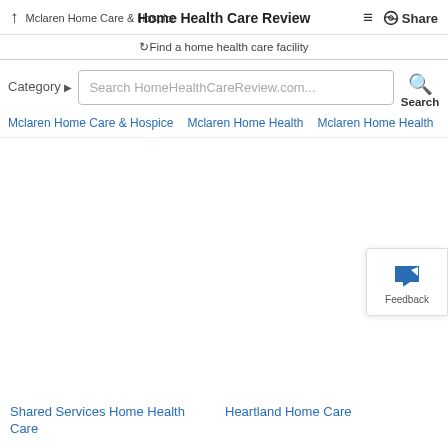↑ Mclaren Home Care & Hospice | Home Health Care Review | ≡ Share
⟳Find a home health care facility
Category ▶ Search HomeHealthCareReview.com... Search
Mclaren Home Care & Hospice
Mclaren Home Health
Mclaren Home Health
Mclar
[Figure (screenshot): Feedback widget with megaphone icon and 'Feedback' label]
Shared Services Home Health Care
Heartland Home Care